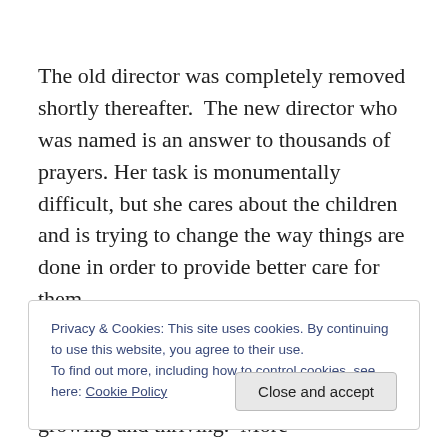The old director was completely removed shortly thereafter.  The new director who was named is an answer to thousands of prayers. Her task is monumentally difficult, but she cares about the children and is trying to change the way things are done in order to provide better care for them.
A few other children from Pleven are now all the way home with their families, growing and thriving.  More
Privacy & Cookies: This site uses cookies. By continuing to use this website, you agree to their use.
To find out more, including how to control cookies, see here: Cookie Policy
Close and accept